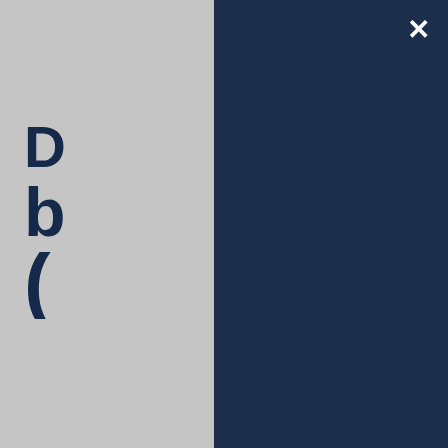[Figure (screenshot): Dark navy blue modal overlay covering the upper right portion of the page, with a white X close button in the top right corner. The left portion shows a gray website background with partial dark blue text/letters visible and a 'Qui' label at the bottom.]
We use cookies on our website to give you the most relevant experience by remembering your preferences and repeat visits. By clicking "Accept All", you consent to the use of ALL the cookies. However, you may visit "Cookie Settings" to provide a controlled consent.
Cookie Settings
Accept All